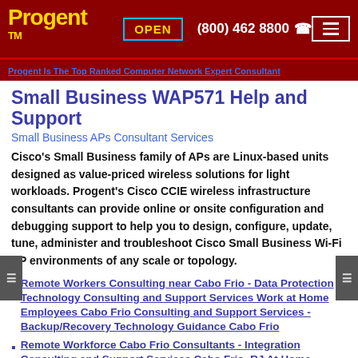Progent ™  OPEN  (800) 462 8800  ☎
Progent Is The Top Ranked Computer Network Expert Consultant
Small Business WAP571 Help and Support
Small Business APs Consultant Services
Cisco's Small Business family of APs are Linux-based units designed as value-priced wireless solutions for light workloads. Progent's Cisco CCIE wireless infrastructure consultants can provide online or onsite configuration and debugging support to help you to design, configure, update, tune, administer and troubleshoot Cisco Small Business Wi-Fi AP environments of any scale or topology.
Remote Workers Consulting near Cabo Frio - Data Protection Technology Consulting and Support Services Work at Home Employees Cabo Frio Consulting and Support Services - Backup/Recovery Technology Guidance Cabo Frio
Remote Workforce Cabo Frio Consultants - Integration Consulting and Support Services Cabo Frio, RJ At Home